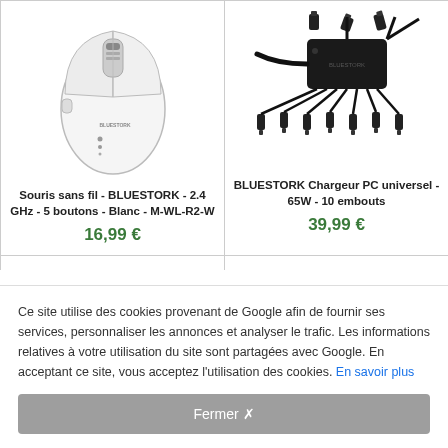[Figure (photo): White wireless mouse - BLUESTORK brand, top view]
Souris sans fil - BLUESTORK - 2.4 GHz - 5 boutons - Blanc - M-WL-R2-W
16,99 €
[Figure (photo): BLUESTORK universal laptop charger 65W with 10 connector tips]
BLUESTORK Chargeur PC universel - 65W - 10 embouts
39,99 €
Ce site utilise des cookies provenant de Google afin de fournir ses services, personnaliser les annonces et analyser le trafic. Les informations relatives à votre utilisation du site sont partagées avec Google. En acceptant ce site, vous acceptez l'utilisation des cookies. En savoir plus
Fermer ✗